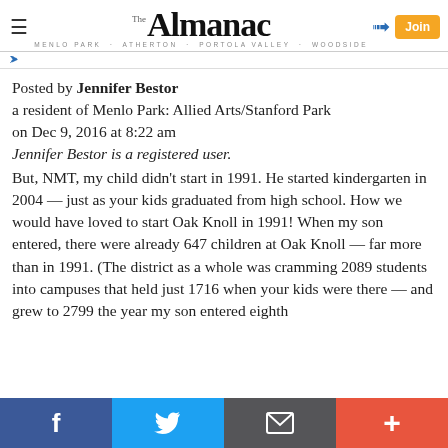The Almanac — MENLO PARK · ATHERTON · PORTOLA VALLEY · WOODSIDE
Posted by Jennifer Bestor
a resident of Menlo Park: Allied Arts/Stanford Park
on Dec 9, 2016 at 8:22 am
Jennifer Bestor is a registered user.
But, NMT, my child didn't start in 1991. He started kindergarten in 2004 — just as your kids graduated from high school. How we would have loved to start Oak Knoll in 1991! When my son entered, there were already 647 children at Oak Knoll — far more than in 1991. (The district as a whole was cramming 2089 students into campuses that held just 1716 when your kids were there — and grew to 2799 the year my son entered eighth
Social share bar: Facebook, Twitter, Email, Plus